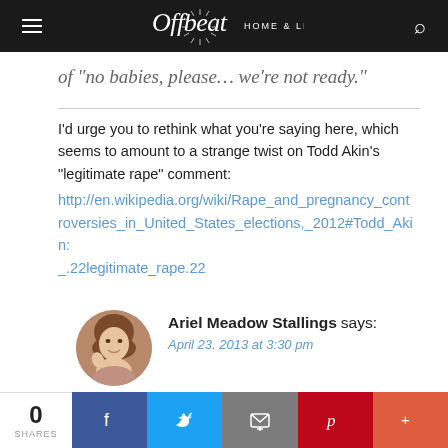Offbeat Home & Life
of "no babies, please… we're not ready."
I'd urge you to rethink what you're saying here, which seems to amount to a strange twist on Todd Akin's "legitimate rape" comment: http://en.wikipedia.org/wiki/Rape_and_pregnancy_controversies_in_United_States_elections,_2012#Todd_Akin:_.22legitimate_rape.22
Ariel Meadow Stallings says:
April 23, 2013 at 3:30 pm
0 SHARES